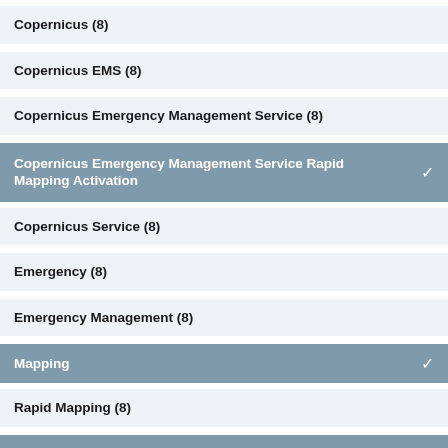Copernicus (8)
Copernicus EMS (8)
Copernicus Emergency Management Service (8)
Copernicus Emergency Management Service Rapid Mapping Activation
Copernicus Service (8)
Emergency (8)
Emergency Management (8)
Mapping
Rapid Mapping (8)
SWE